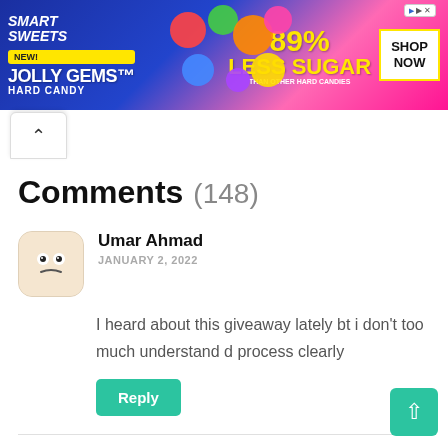[Figure (illustration): SmartSweets Jolly Gems Hard Candy advertisement banner with colorful candy pieces on pink and blue background. Text: NEW! JOLLY GEMS HARD CANDY, 89% LESS SUGAR THAN OTHER HARD CANDIES, SHOP NOW]
Comments (148)
Umar Ahmad
JANUARY 2, 2022
I heard about this giveaway lately bt i don't too much understand d process clearly
Reply
Patricia Yayirus Saleh